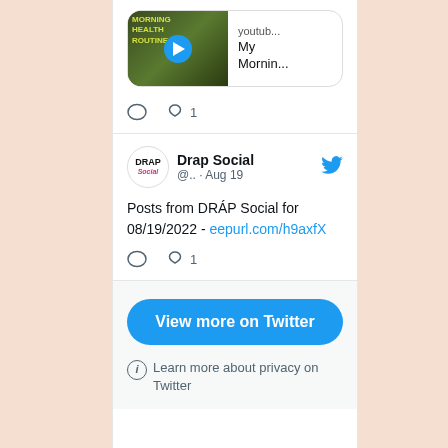[Figure (screenshot): Video preview thumbnail showing Morning Health Routine YouTube video with play button]
youtub...
My Mornin...
♡ 1
[Figure (logo): Drap Social logo]
Drap Social @.. · Aug 19
Posts from DRÁP Social for 08/19/2022 - eepurl.com/h9axfX
♡ 1
View more on Twitter
ⓘ Learn more about privacy on Twitter